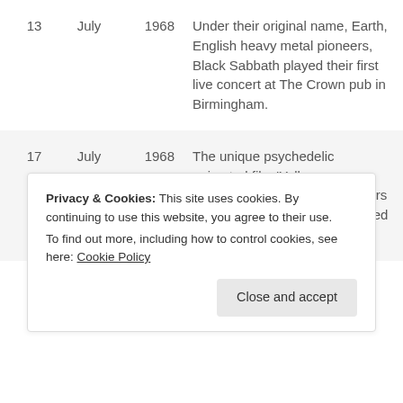| Day | Month | Year | Description |
| --- | --- | --- | --- |
| 13 | July | 1968 | Under their original name, Earth, English heavy metal pioneers, Black Sabbath played their first live concert at The Crown pub in Birmingham. |
| 17 | July | 1968 | The unique psychedelic animated film ‘Yellow Submarine’, featuring characters based on The Beatles premiered in London. |
|  |  |  | Influential American country guitarist and principal sideman |
Privacy & Cookies: This site uses cookies. By continuing to use this website, you agree to their use.
To find out more, including how to control cookies, see here: Cookie Policy
Close and accept